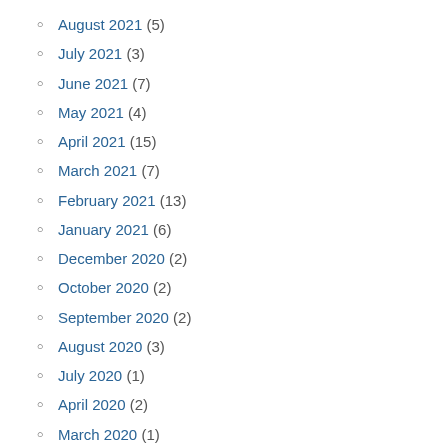August 2021 (5)
July 2021 (3)
June 2021 (7)
May 2021 (4)
April 2021 (15)
March 2021 (7)
February 2021 (13)
January 2021 (6)
December 2020 (2)
October 2020 (2)
September 2020 (2)
August 2020 (3)
July 2020 (1)
April 2020 (2)
March 2020 (1)
February 2020 (14)
January 2020 (8)
December 2019 (11)
November 2019 (6)
August 2019 (14)